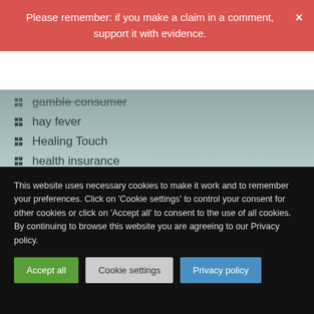Please remember: if you make a claim in a comment, support it with evidence.
gamble consumer (strikethrough)
hay fever
Healing Touch
health insurance
herbal medicine
HIV
holistic
homeopathy
hypercholesterolemia
hypnotherapy
This website uses necessary cookies to make it work and to remember your preferences. Click on 'Cookie settings' to control your consent for other cookies or click on 'Accept all' to consent to the use of all cookies. By continuing to browse this website you are agreeing to our Privacy policy.
Accept all | Cookie settings | Privacy policy